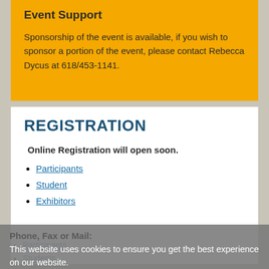Event Support
Sponsorship of the event is available, if you wish to sponsor a portion of the event, please contact Rebecca Dycus at 618/453-1141.
REGISTRATION
Online Registration will open soon.
Participants
Student
Exhibitors
Phone, Fax or Mail:
Participants
Students
This website uses cookies to ensure you get the best experience on our website.
Learn more
Got it!